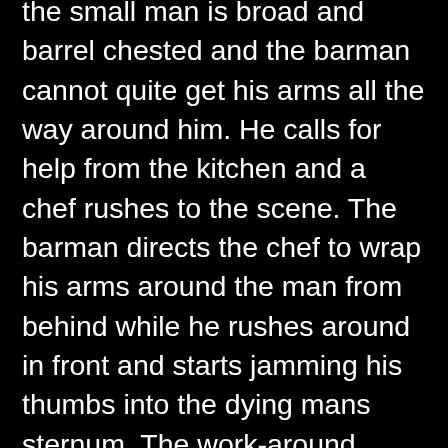the small man is broad and barrel chested and the barman cannot quite get his arms all the way around him. He calls for help from the kitchen and a chef rushes to the scene. The barman directs the chef to wrap his arms around the man from behind while he rushes around in front and starts jamming his thumbs into the dying mans sternum. The work-around manoeuvre is effective and the piece of gristle shoots out of his throat like a cork from a bottle of champagne, sails across the Soi and lands with a loud plop and splash in the bowl of food that the precocious young gogo girl is eating. Her pristine short white top is destroyed and she furiously looks around for the culprit, with murder in her eyes.
Meanwhile the small man is recovering and gasping